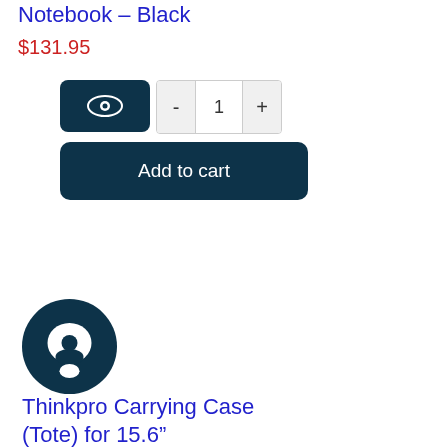Notebook – Black
$131.95
[Figure (screenshot): E-commerce product controls: eye/wishlist icon button (dark teal), quantity selector with minus, 1, plus buttons, and Add to cart button]
[Figure (logo): Dark teal circular logo icon with white face/chat symbol]
Thinkpro Carrying Case (Tote) for 15.6"